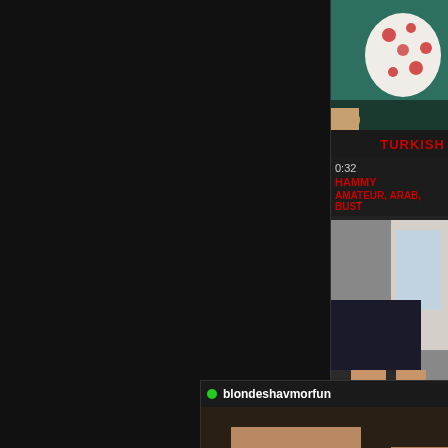[Figure (screenshot): Dark background left panel, video thumbnail top right showing close-up with polka dot fabric, title bar with TURKISH label, metadata showing 0:32 duration, uploader HAMMY, tags AMATEUR ARAB BUST, second video thumbnail panel below, webcam overlay at bottom with username blondeshavmorfun and viewer count 24]
TURKISH
0:32
HAMMY
AMATEUR, ARAB, BUST
blondeshavmorfun
24